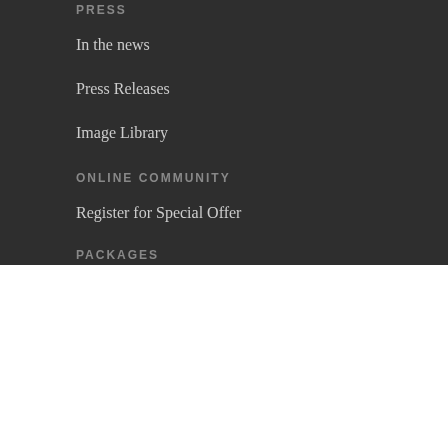PRESS
In the news
Press Releases
Image Library
ONLINE COMMUNITY
Register for Special Offer
PACKAGES
We use cookies on our website to give you the most relevant experience by remembering your preferences and repeat visits. By clicking “Accept”, you consent to the use of ALL the cookies.
Do not sell my personal information.